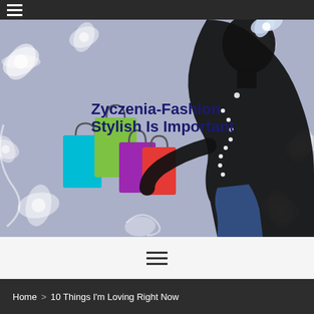≡ (hamburger menu, dark nav bar)
[Figure (illustration): Fashion blog banner image: lavender/blue-grey background with white floral/swirl patterns. Black silhouette of a woman in profile wearing a pearl necklace and floral hair accessory on the right. Colorful shopping bags (cyan, green, magenta, red) on the left. Overlaid text: 'Zyczenia-Fashion' and 'Stylish Is Important' in dark navy bold font.]
Zyczenia-Fashion
Stylish Is Important
≡ (hamburger menu navigation)
Home > 10 Things I'm Loving Right Now